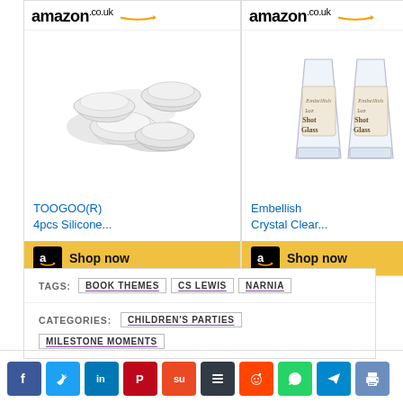[Figure (screenshot): Amazon.co.uk product ad for TOOGOO(R) 4pcs Silicone... with Shop now button]
[Figure (screenshot): Amazon.co.uk product ad for Embellish Crystal Clear... shot glasses with Shop now button]
TAGS: BOOK THEMES CS LEWIS NARNIA
CATEGORIES: CHILDREN'S PARTIES MILESTONE MOMENTS
[Figure (infographic): Social sharing icons row: Facebook, Twitter, LinkedIn, Pinterest, StumbleUpon, Buffer, Reddit, WhatsApp, Telegram, Print]